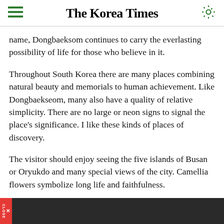The Korea Times
name, Dongbaeksom continues to carry the everlasting possibility of life for those who believe in it.
Throughout South Korea there are many places combining natural beauty and memorials to human achievement. Like Dongbaekseom, many also have a quality of relative simplicity. There are no large or neon signs to signal the place's significance. I like these kinds of places of discovery.
The visitor should enjoy seeing the five islands of Busan or Oryukdo and many special views of the city. Camellia flowers symbolize long life and faithfulness.